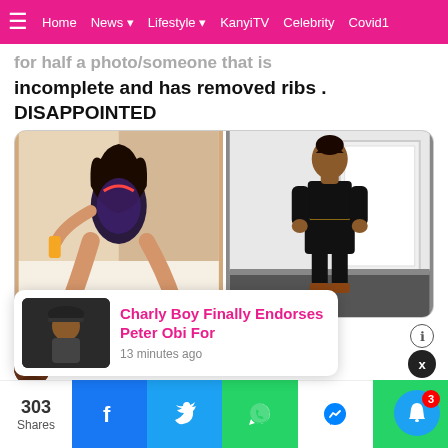≡  Home  News ▾  Lifestyle ▾  KanyiTV  Celebrity  Covid1
incomplete and has removed ribs . DISAPPOINTED
[Figure (photo): Two photos side by side: left shows a woman in a swimsuit posing on the floor, right shows a woman in a black outfit standing by a door]
7:57 PM · Aug 26, 2019
Read the full conversation on Twitter
Charly Boy Finally Endorses Peter Obi For
13 minutes ago
303 Shares